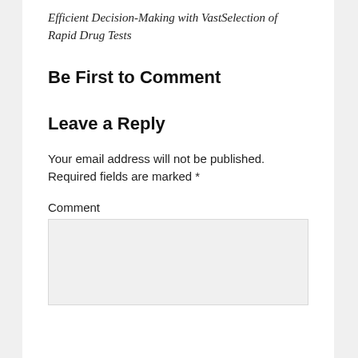Efficient Decision-Making with VastSelection of Rapid Drug Tests
Be First to Comment
Leave a Reply
Your email address will not be published. Required fields are marked *
Comment